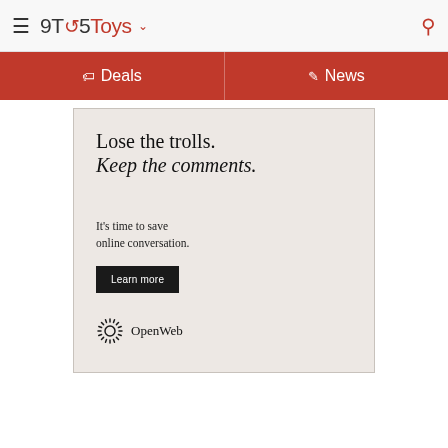9TO5Toys
Deals | News
[Figure (screenshot): OpenWeb advertisement with text 'Lose the trolls. Keep the comments. It's time to save online conversation. Learn more' and OpenWeb logo at bottom left.]